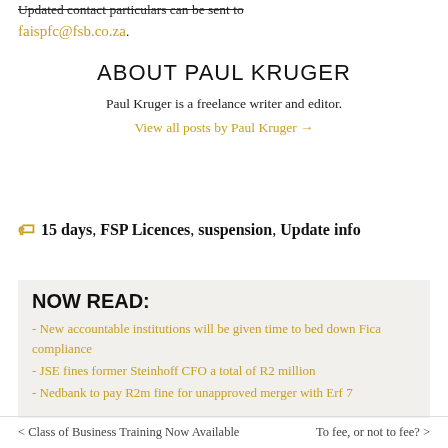Updated contact particulars can be sent to faispfc@fsb.co.za.
ABOUT PAUL KRUGER
Paul Kruger is a freelance writer and editor.
View all posts by Paul Kruger →
15 days, FSP Licences, suspension, Update info
NOW READ:
- New accountable institutions will be given time to bed down Fica compliance
- JSE fines former Steinhoff CFO a total of R2 million
- Nedbank to pay R2m fine for unapproved merger with Erf 7
< Class of Business Training Now Available   To fee, or not to fee? >